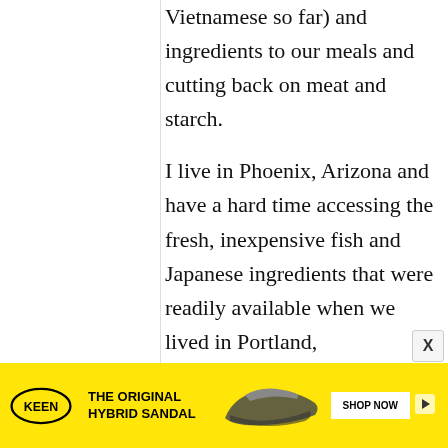Vietnamese so far) and ingredients to our meals and cutting back on meat and starch. I live in Phoenix, Arizona and have a hard time accessing the fresh, inexpensive fish and Japanese ingredients that were readily available when we lived in Portland,
[Figure (other): Advertisement banner for KEEN shoes. Yellow background with KEEN logo, text 'THE ORIGINAL HYBRID SANDAL', image of a sandal/shoe, and 'SHOP NOW' button.]